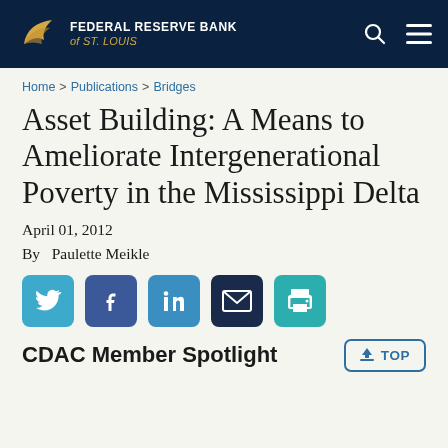FEDERAL RESERVE BANK of ST. LOUIS
Home > Publications > Bridges
Asset Building: A Means to Ameliorate Intergenerational Poverty in the Mississippi Delta
April 01, 2012
By  Paulette Meikle
[Figure (other): Social media share buttons: Twitter, Facebook, LinkedIn, Email, Print]
CDAC Member Spotlight